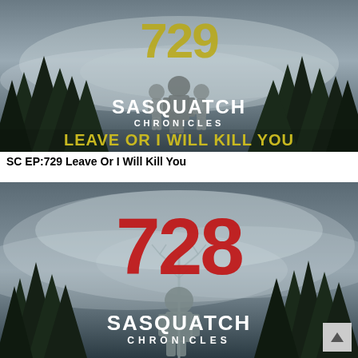[Figure (illustration): Podcast cover art for Sasquatch Chronicles Episode 729 titled 'Leave Or I Will Kill You'. Dark misty forest background with silhouettes of bigfoot creatures. Large yellow distressed number '729' at top. White bold text 'SASQUATCH CHRONICLES' in center. Yellow bold text 'LEAVE OR I WILL KILL YOU' at bottom.]
SC EP:729 Leave Or I Will Kill You
[Figure (illustration): Podcast cover art for Sasquatch Chronicles Episode 728. Dark misty foggy forest background with silhouette of bigfoot creature and bare tree. Large red distressed number '728' in center. White bold text 'SASQUATCH CHRONICLES' and 'CHRONICLES' below.]